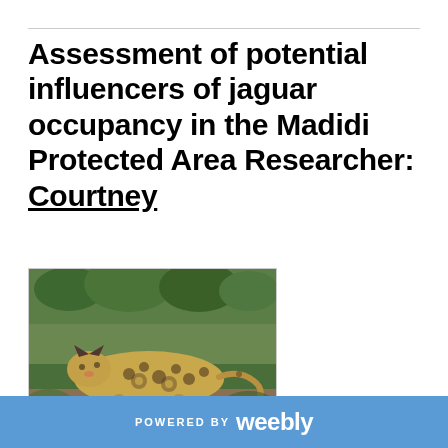Assessment of potential influencers of jaguar occupancy in the Madidi Protected Area Researcher: Courtney
[Figure (photo): Camera trap photo of a jaguar walking through jungle vegetation, spotted coat clearly visible, greenery and trees in background]
POWERED BY weebly